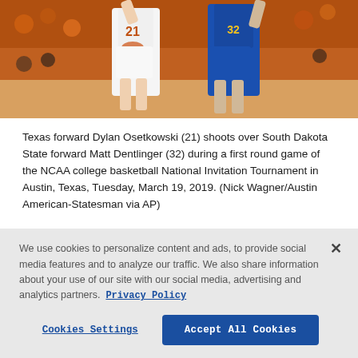[Figure (photo): Basketball game photo: Texas forward Dylan Osetkowski (#21) in white uniform shoots over South Dakota State forward Matt Dentlinger (#32) in blue uniform, with crowd in background.]
Texas forward Dylan Osetkowski (21) shoots over South Dakota State forward Matt Dentlinger (32) during a first round game of the NCAA college basketball National Invitation Tournament in Austin, Texas, Tuesday, March 19, 2019. (Nick Wagner/Austin American-Statesman via AP)
We use cookies to personalize content and ads, to provide social media features and to analyze our traffic. We also share information about your use of our site with our social media, advertising and analytics partners. Privacy Policy